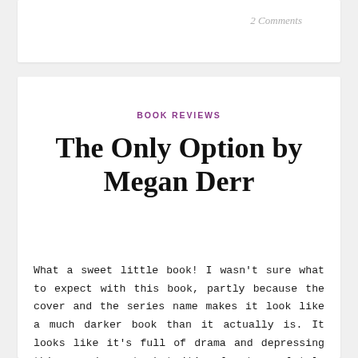2 Comments
BOOK REVIEWS
The Only Option by Megan Derr
What a sweet little book! I wasn't sure what to expect with this book, partly because the cover and the series name makes it look like a much darker book than it actually is. It looks like it's full of drama and depressing things and angst, but it's almost completely the opposite. I mean, there's still a little angst, but it's the good kind, the delicious kind that makes the sweet goopy parts that much more fun.